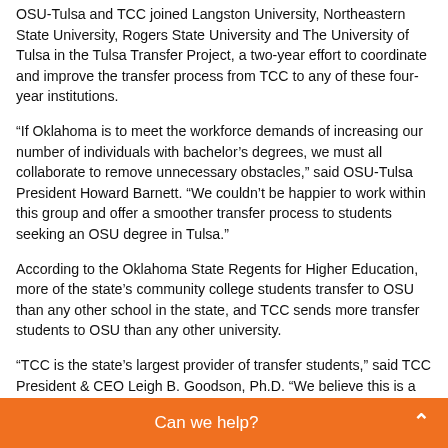OSU-Tulsa and TCC joined Langston University, Northeastern State University, Rogers State University and The University of Tulsa in the Tulsa Transfer Project, a two-year effort to coordinate and improve the transfer process from TCC to any of these four-year institutions.
“If Oklahoma is to meet the workforce demands of increasing our number of individuals with bachelor's degrees, we must all collaborate to remove unnecessary obstacles,” said OSU-Tulsa President Howard Barnett. “We couldn’t be happier to work within this group and offer a smoother transfer process to students seeking an OSU degree in Tulsa.”
According to the Oklahoma State Regents for Higher Education, more of the state’s community college students transfer to OSU than any other school in the state, and TCC sends more transfer students to OSU than any other university.
“TCC is the state’s largest provider of transfer students,” said TCC President & CEO Leigh B. Goodson, Ph.D. “We believe this is a critical piece of the conversation to not only help our
Can we help?